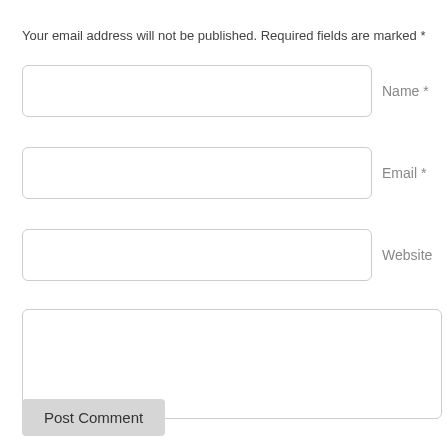Your email address will not be published. Required fields are marked *
[Figure (screenshot): Web comment form with Name, Email, Website input fields, a large comment textarea, and a Post Comment button]
Name *
Email *
Website
Post Comment